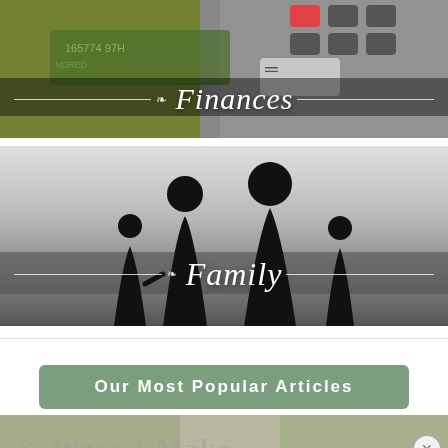[Figure (photo): Banner image of cash dollar bills and a calculator with a script italic white text overlay reading 'Finances', flanked by decorative ornament lines on a dark semi-transparent band.]
[Figure (photo): Banner image of silhouetted family (two adults and two children) on a grey gradient background with a script italic white text overlay reading 'Family', flanked by decorative ornament lines on a dark semi-transparent band.]
Our Most Popular Articles
[Figure (photo): Partial preview image at the bottom of the page showing a faded overlay with '6 Ways I Make' text and a close button (×).]